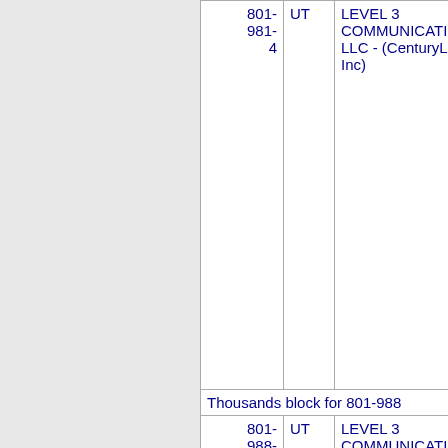| NPA-NXX-X | ST | Company | OCN |
| --- | --- | --- | --- |
| 801-981-4 | UT | LEVEL 3 COMMUNICATIONS, LLC - (CenturyLink, Inc) | 3231 N |
| Thousands block for 801-988 |  |  |  |
| 801-988-5 | UT | LEVEL 3 COMMUNICATIONS, LLC - (CenturyLink, Inc) | 3231 N |